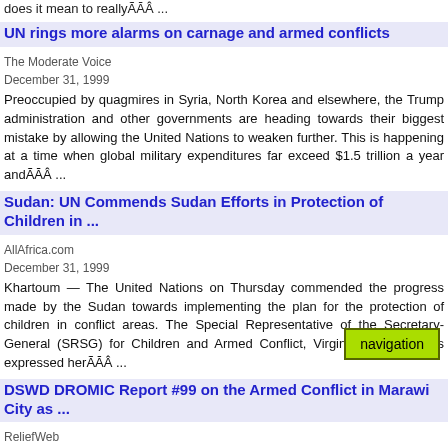does it mean to reallyÃĀÂ ...
UN rings more alarms on carnage and armed conflicts
The Moderate Voice
December 31, 1999
Preoccupied by quagmires in Syria, North Korea and elsewhere, the Trump administration and other governments are heading towards their biggest mistake by allowing the United Nations to weaken further. This is happening at a time when global military expenditures far exceed $1.5 trillion a year andÃĀÂ ...
Sudan: UN Commends Sudan Efforts in Protection of Children in ...
AllAfrica.com
December 31, 1999
Khartoum — The United Nations on Thursday commended the progress made by the Sudan towards implementing the plan for the protection of children in conflict areas. The Special Representative of the Secretary-General (SRSG) for Children and Armed Conflict, Virginia Gamba , has expressed herÃĀÂ ...
DSWD DROMIC Report #99 on the Armed Conflict in Marawi City as ...
ReliefWeb
December 31, 1999
a) 77,170 families or 353,921 persons have been displaced by the Armed Conflict in Marawi City, based on the Disaster Assistance Family Asses...